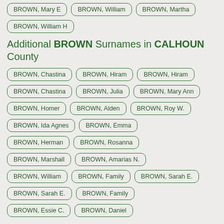BROWN, Mary E
BROWN, William
BROWN, Martha
BROWN, William H
Additional BROWN Surnames in CALHOUN County
BROWN, Chastina
BROWN, Hiram
BROWN, Hiram
BROWN, Chastina
BROWN, Julia
BROWN, Mary Ann
BROWN, Homer
BROWN, Alden
BROWN, Roy W.
BROWN, Ida Agnes
BROWN, Emma
BROWN, Herman
BROWN, Rosanna
BROWN, Marshall
BROWN, Amarias N.
BROWN, William
BROWN, Family
BROWN, Sarah E.
BROWN, Sarah E.
BROWN, Family
BROWN, Essie C.
BROWN, Daniel